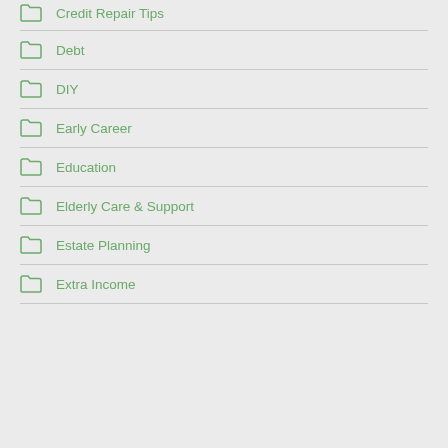Credit Repair Tips
Debt
DIY
Early Career
Education
Elderly Care & Support
Estate Planning
Extra Income